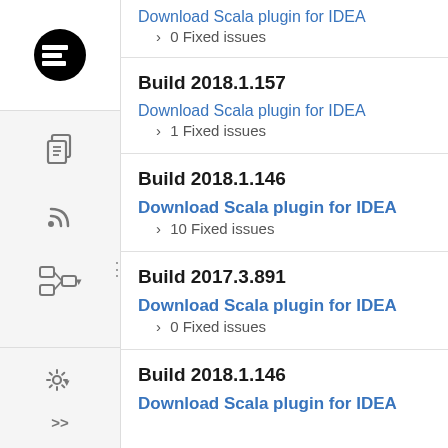Download Scala plugin for IDEA
› 0 Fixed issues
Build 2018.1.157
Download Scala plugin for IDEA
› 1 Fixed issues
Build 2018.1.146
Download Scala plugin for IDEA
› 10 Fixed issues
Build 2017.3.891
Download Scala plugin for IDEA
› 0 Fixed issues
Build 2018.1.146
Download Scala plugin for IDEA